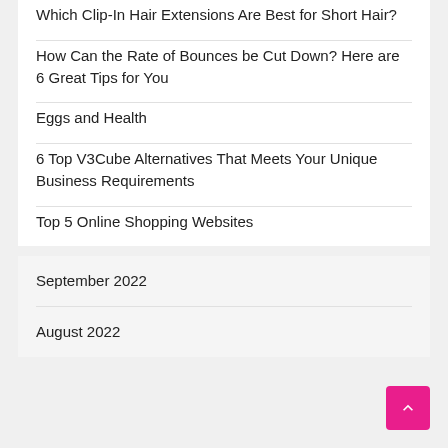Which Clip-In Hair Extensions Are Best for Short Hair?
How Can the Rate of Bounces be Cut Down? Here are 6 Great Tips for You
Eggs and Health
6 Top V3Cube Alternatives That Meets Your Unique Business Requirements
Top 5 Online Shopping Websites
September 2022
August 2022